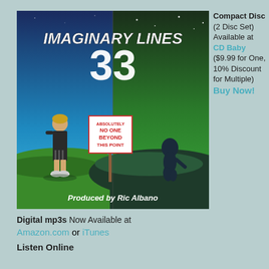[Figure (illustration): Album cover for 'Imaginary Lines 33' showing a split scene — left side: blue sky/daytime, a boy in dark clothes standing on grass; right side: dark green sky/nighttime, a shadow figure. A sign in the middle reads 'ABSOLUTELY NO ONE BEYOND THIS POINT'. Text at top: 'IMAGINARY LINES' and '33'. Bottom text: 'Produced by Ric Albano'.]
Compact Disc (2 Disc Set) Available at CD Baby ($9.99 for One, 10% Discount for Multiple) Buy Now!
Digital mp3s Now Available at Amazon.com or iTunes
Listen Online